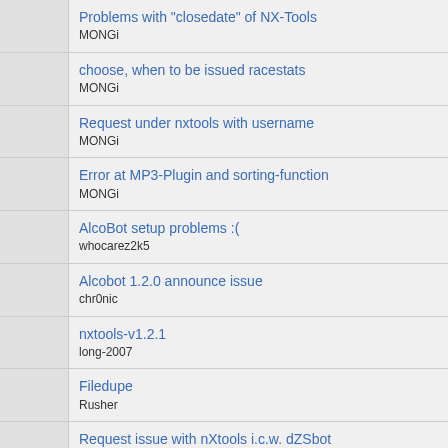Problems with "closedate" of NX-Tools
MONGi
choose, when to be issued racestats
MONGi
Request under nxtools with username
MONGi
Error at MP3-Plugin and sorting-function
MONGi
AlcoBot setup problems :(
whocarez2k5
Alcobot 1.2.0 announce issue
chr0nic
nxtools-v1.2.1
long-2007
Filedupe
Rusher
Request issue with nXtools i.c.w. dZSbot
NLCandyman
nxautonuke-v2.5.1 - four File Tags
klash